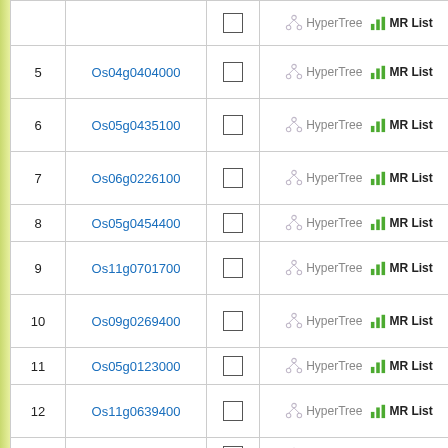| # | Gene ID | Select | Links | Description |
| --- | --- | --- | --- | --- |
| 5 | Os04g0404000 |  | HyperTree | MR List | Non-classified (ncla…) |
| 6 | Os05g0435100 |  | HyperTree | MR List | Protein UF1… |
| 7 | Os06g0226100 |  | HyperTree | MR List | Glutamate prot… |
| 8 | Os05g0454400 |  | HyperTree | MR List | Con… |
| 9 | Os11g0701700 |  | HyperTree | MR List | Non-classified (ncla…) |
| 10 | Os09g0269400 |  | HyperTree | MR List | Non-classified (ncla…) |
| 11 | Os05g0123000 |  | HyperTree | MR List |  |
| 12 | Os11g0639400 |  | HyperTree | MR List | Non-classified (ncla…) |
| 13 | Os05g0272300 |  | HyperTree | MR List | Con… |
| 14 | Os01g0230800 |  | HyperTree | MR List | Con… |
| 15 | Os11g0642900 |  | HyperTree | MR List | Con… |
| 16 | Os12g0176600 |  | HyperTree | MR List | SW ein… |
| 17 | Os03g0648800 |  | HyperTree | MR List | Glutamate prot… |